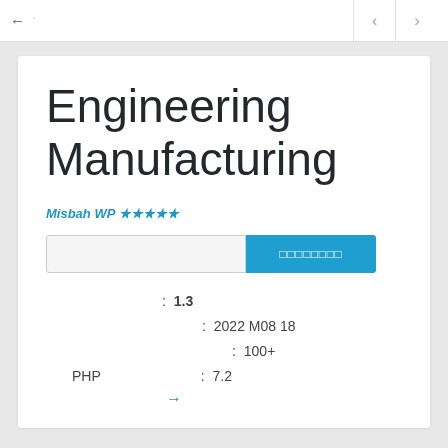← | < >
Engineering Manufacturing
Misbah WP ★★★★★
Search input and search button (☐☐☐☐☐☐☐☐)
: 1.3
: 2022 M08 18
: 100+
PHP : 7.2
→